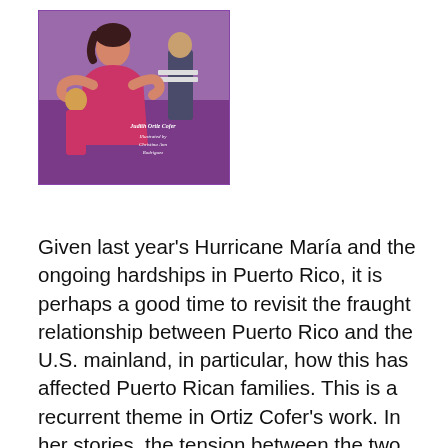[Figure (illustration): Book cover illustration showing a woman in a pink/red dress dancing or embracing a child, with another figure in the background. Text on cover reads author Judith Ortiz Cofer and illustrator Christina Ann Rodriguez.]
Given last year's Hurricane María and the ongoing hardships in Puerto Rico, it is perhaps a good time to revisit the fraught relationship between Puerto Rico and the U.S. mainland, in particular, how this has affected Puerto Rican families. This is a recurrent theme in Ortiz Cofer's work. In her stories, the tension between the two places manifests itself in the parents. The mother is loyal to the island. The father feels more at home in New York or New Jersey, or longs to go there because he imagines it offers a superior life. This plays a major factor in why the parents separate. The daughter, the main character, is independent, smart, and creative. She must grow up